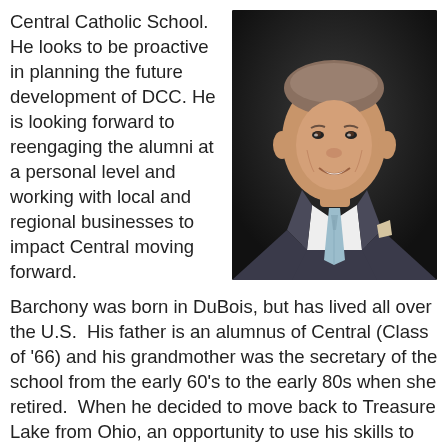Central Catholic School. He looks to be proactive in planning the future development of DCC. He is looking forward to reengaging the alumni at a personal level and working with local and regional businesses to impact Central moving forward.
[Figure (photo): Professional headshot of a smiling man in a dark suit with a light blue patterned tie and white pocket square, against a dark background.]
Barchony was born in DuBois, but has lived all over the U.S.  His father is an alumnus of Central (Class of '66) and his grandmother was the secretary of the school from the early 60's to the early 80s when she retired.  When he decided to move back to Treasure Lake from Ohio, an opportunity to use his skills to support the school seemed like coming home to him.